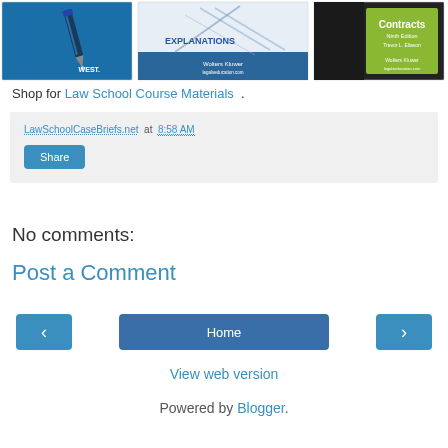[Figure (illustration): Three law school textbook covers in a horizontal strip: a blue cover with a fountain pen (West publisher), a book with 'Explanations' text and Wolters Kluwer branding, and a dark cover with green Contracts Ninth Edition (Wolters Kluwer)]
Shop for Law School Course Materials .
LawSchoolCaseBriefs.net at 8:58 AM
Share
No comments:
Post a Comment
Home
View web version
Powered by Blogger.